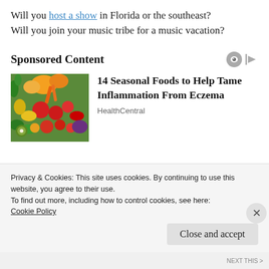Will you host a show in Florida or the southeast? Will you join your music tribe for a music vacation?
Sponsored Content
[Figure (photo): Colorful assortment of fresh fruits and vegetables including papaya, carrots, tomatoes, peppers, and greens]
14 Seasonal Foods to Help Tame Inflammation From Eczema
HealthCentral
Privacy & Cookies: This site uses cookies. By continuing to use this website, you agree to their use. To find out more, including how to control cookies, see here: Cookie Policy
Close and accept